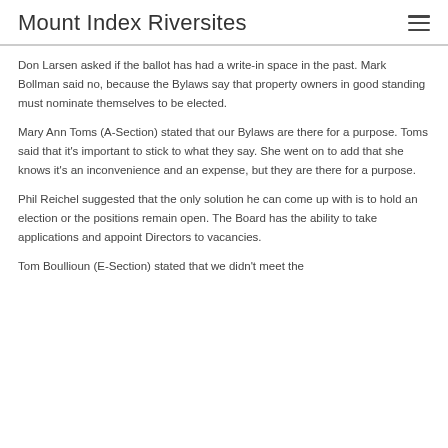Mount Index Riversites
Don Larsen asked if the ballot has had a write-in space in the past. Mark Bollman said no, because the Bylaws say that property owners in good standing must nominate themselves to be elected.
Mary Ann Toms (A-Section) stated that our Bylaws are there for a purpose. Toms said that it's important to stick to what they say. She went on to add that she knows it's an inconvenience and an expense, but they are there for a purpose.
Phil Reichel suggested that the only solution he can come up with is to hold an election or the positions remain open. The Board has the ability to take applications and appoint Directors to vacancies.
Tom Boullioun (E-Section) stated that we didn't meet the